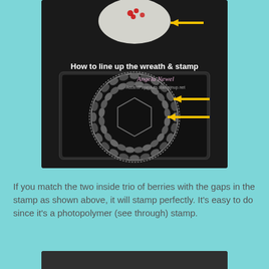[Figure (photo): Photo showing how to line up a wreath die-cut with a photopolymer stamp on an acrylic block. Yellow arrows point to gaps in the stamp where berry trios should align. Text overlay reads 'How to line up the wreath & stamp' with watermark 'Angela Povel' and website.]
If you match the two inside trio of berries with the gaps in the stamp as shown above, it will stamp perfectly.  It's easy to do since it's a photopolymer (see through) stamp.
[Figure (photo): Partial photo at bottom of page, dark background, appears to show a stamped or die-cut image — partially cropped.]